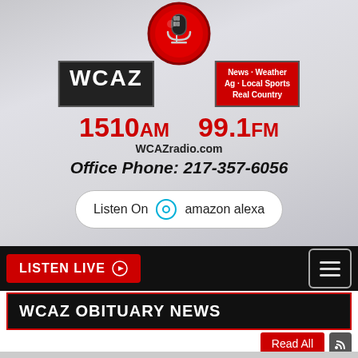[Figure (logo): WCAZ radio station logo with microphone in red circle, black WCAZ name box, red news/weather/ag/sports tagline box]
1510AM   99.1FM
WCAZradio.com
Office Phone: 217-357-6056
Listen On  amazon alexa
LISTEN LIVE
WCAZ OBITUARY NEWS
Read All